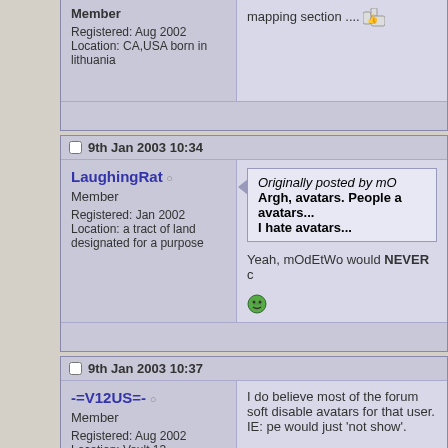Member
Registered: Aug 2002
Location: CA,USA born in lithuania
mapping section ....
9th Jan 2003 10:34
LaughingRat
Member
Registered: Jan 2002
Location: a tract of land designated for a purpose
Originally posted by mO
Argh, avatars. People a avatars...
I hate avatars...
Yeah, mOdEtWo would NEVER c
9th Jan 2003 10:37
-=V12US=-
Member
Registered: Aug 2002
Location: Vault 13
I do believe most of the forum soft disable avatars for that user. IE: pe would just 'not show'.